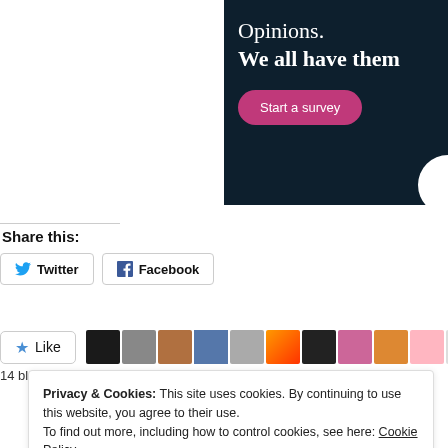[Figure (screenshot): Advertisement banner with dark navy background showing 'Opinions. We all have them' text in white with a pink 'Start a survey' button]
Share this:
[Figure (other): Twitter share button]
[Figure (other): Facebook share button]
[Figure (other): Like button with star icon and row of user avatar thumbnails]
14 bloggers like this.
Privacy & Cookies: This site uses cookies. By continuing to use this website, you agree to their use.
To find out more, including how to control cookies, see here: Cookie Policy
Close and accept